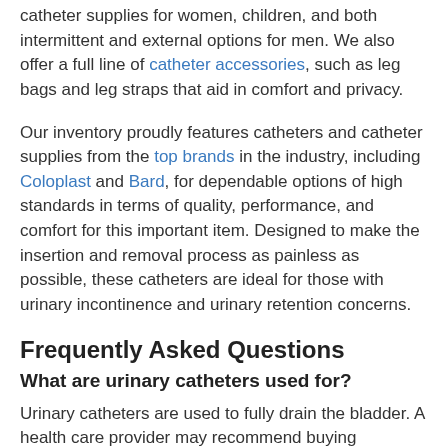catheter supplies for women, children, and both intermittent and external options for men. We also offer a full line of catheter accessories, such as leg bags and leg straps that aid in comfort and privacy.
Our inventory proudly features catheters and catheter supplies from the top brands in the industry, including Coloplast and Bard, for dependable options of high standards in terms of quality, performance, and comfort for this important item. Designed to make the insertion and removal process as painless as possible, these catheters are ideal for those with urinary incontinence and urinary retention concerns.
Frequently Asked Questions
What are urinary catheters used for?
Urinary catheters are used to fully drain the bladder. A health care provider may recommend buying catheters online to treat issues such as: